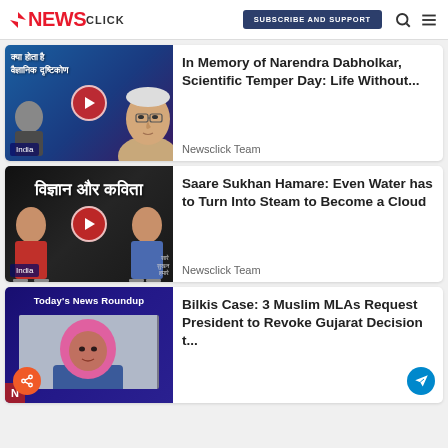NEWS CLICK | SUBSCRIBE AND SUPPORT
[Figure (screenshot): Video thumbnail with Hindi text 'क्या होता है वैज्ञानिक दृष्टिकोण' and a man's face, with play button, India tag]
In Memory of Narendra Dabholkar, Scientific Temper Day: Life Without...
Newsclick Team
[Figure (screenshot): Video thumbnail with Hindi text 'विज्ञान और कविता' with two men, play button, India tag]
Saare Sukhan Hamare: Even Water has to Turn Into Steam to Become a Cloud
Newsclick Team
[Figure (screenshot): Video thumbnail 'Today's News Roundup' with woman in pink hijab]
Bilkis Case: 3 Muslim MLAs Request President to Revoke Gujarat Decision t...